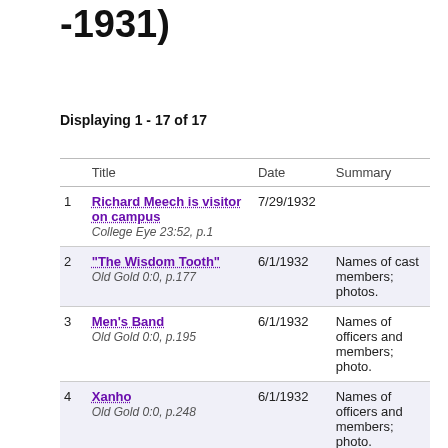-1931)
Displaying 1 - 17 of 17
|  | Title | Date | Summary |
| --- | --- | --- | --- |
| 1 | Richard Meech is visitor on campus
College Eye 23:52, p.1 | 7/29/1932 |  |
| 2 | "The Wisdom Tooth"
Old Gold 0:0, p.177 | 6/1/1932 | Names of cast members; photos. |
| 3 | Men's Band
Old Gold 0:0, p.195 | 6/1/1932 | Names of officers and members; photo. |
| 4 | Xanho
Old Gold 0:0, p.248 | 6/1/1932 | Names of officers and members; photo. |
| 5 | Prospects for a | 4/1/1932 | Rainy |